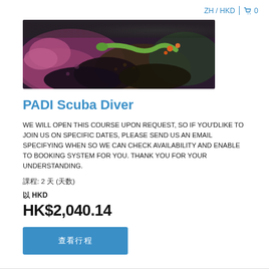ZH / HKD | 🛒 0
[Figure (photo): Underwater photo showing colorful sea creatures and coral on rocks — purple, pink, and dark tones with a green eel or fish visible.]
PADI Scuba Diver
WE WILL OPEN THIS COURSE UPON REQUEST, SO IF YOU'DLIKE TO JOIN US ON SPECIFIC DATES, PLEASE SEND US AN EMAIL SPECIFYING WHEN SO WE CAN CHECK AVAILABILITY AND ENABLE TO BOOKING SYSTEM FOR YOU. THANK YOU FOR YOUR UNDERSTANDING.
課程: 2 天 (天数)
以 HKD
HK$2,040.14
查看行程